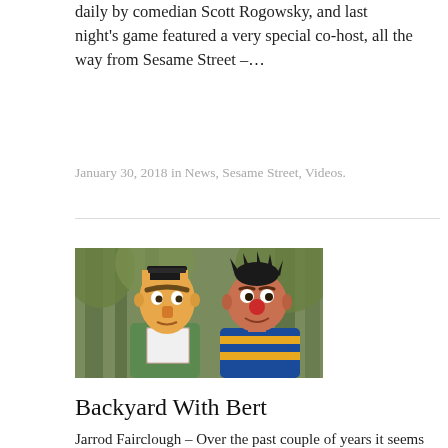daily by comedian Scott Rogowsky, and last night's game featured a very special co-host, all the way from Sesame Street –…
January 30, 2018 in News, Sesame Street, Videos.
[Figure (photo): Photo of Bert and Ernie Muppet characters from Sesame Street, shown outdoors with trees in background. Bert is on the left holding a white paper, Ernie on the right.]
Backyard With Bert
Jarrod Fairclough – Over the past couple of years it seems like Sesame Street have really be leaning in to sketches that have no educational value – they're just funny. Look at that 80's song